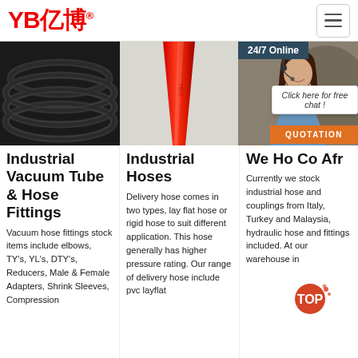[Figure (logo): YB 亿博 red logo with registered trademark symbol]
[Figure (photo): Black industrial hose/vacuum tube coiled]
[Figure (photo): Red industrial hose end close-up]
[Figure (photo): Woman with headset, 24/7 Online customer service banner with chat bubble and QUOTATION button]
Industrial Vacuum Tube & Hose Fittings
Vacuum hose fittings stock items include elbows, TY's, YL's, DTY's, Reducers, Male & Female Adapters, Shrink Sleeves, Compression
Industrial Hoses
Delivery hose comes in two types, lay flat hose or rigid hose to suit different application. This hose generally has higher pressure rating. Our range of delivery hose include pvc layflat hose for irrigation...
We... Ho... Co... Afr...
Currently we stock industrial hose and couplings from Italy, Turkey and Malaysia, hydraulic hose and fittings included. At our warehouse in...